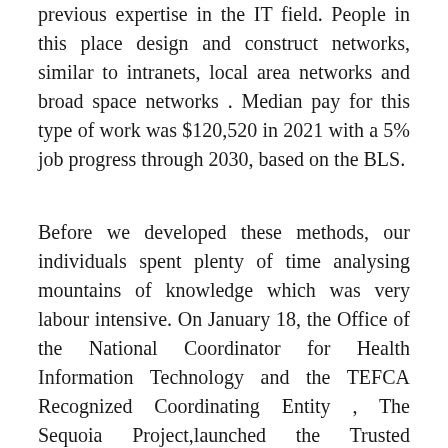previous expertise in the IT field. People in this place design and construct networks, similar to intranets, local area networks and broad space networks . Median pay for this type of work was $120,520 in 2021 with a 5% job progress through 2030, based on the BLS.
Before we developed these methods, our individuals spent plenty of time analysing mountains of knowledge which was very labour intensive. On January 18, the Office of the National Coordinator for Health Information Technology and the TEFCA Recognized Coordinating Entity , The Sequoia Project,launched the Trusted Exchange Framework and Common Agreement . The next key step for TEFCA is the discharge of assets to advance its operationalization, similar